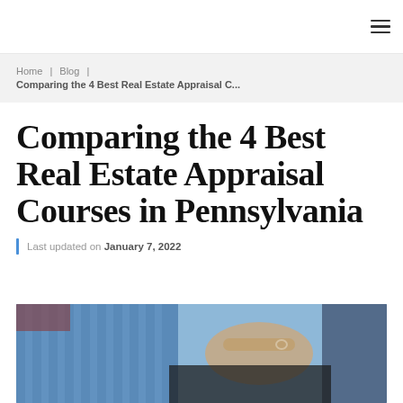≡ (hamburger menu icon)
Home | Blog | Comparing the 4 Best Real Estate Appraisal C...
Comparing the 4 Best Real Estate Appraisal Courses in Pennsylvania
Last updated on January 7, 2022
[Figure (photo): A person wearing a blue striped shirt touching or pointing at something, with a dark overlay region at the bottom right of the image.]